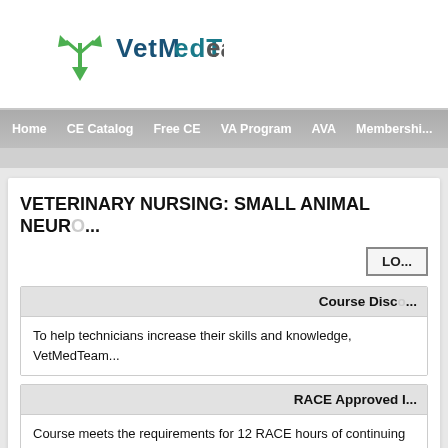[Figure (logo): VetMedTeam logo with green downward arrow plant icon and teal/dark blue text]
Home  CE Catalog  Free CE  VA Program  AVA  Membership
VETERINARY NURSING: SMALL ANIMAL NEURO...
LO...
Course Disc...
To help technicians increase their skills and knowledge, VetMedTeam...
RACE Approved I...
Course meets the requirements for 12 RACE hours of continuing edu... approval. However, participants should be aware that some boards h... restrictions on certain methods of delivery.